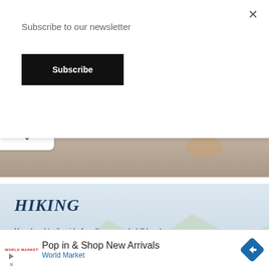Subscribe to our newsletter
Subscribe
[Figure (photo): Partial scenic landscape background photo visible behind modal overlay]
[Figure (photo): Hiking scenic banner with two hikers (woman in pink pants, child) standing on rocky hillside landscape, misty mountains in background]
HIKING
Your local trail guide for all ages and skill levels
[Figure (infographic): World Market advertisement banner: 'Pop in & Shop New Arrivals' with World Market branding and blue diamond navigation arrow icon]